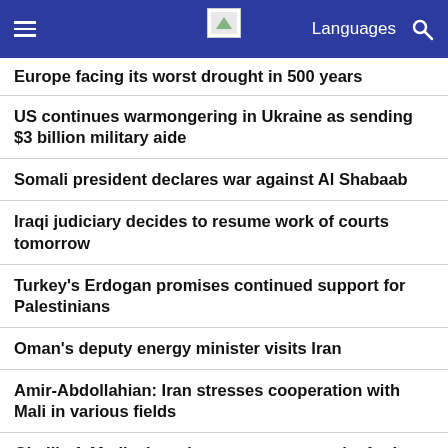Languages [navigation header with hamburger menu, logo, and search]
Europe facing its worst drought in 500 years
US continues warmongering in Ukraine as sending $3 billion military aide
Somali president declares war against Al Shabaab
Iraqi judiciary decides to resume work of courts tomorrow
Turkey's Erdogan promises continued support for Palestinians
Oman's deputy energy minister visits Iran
Amir-Abdollahian: Iran stresses cooperation with Mali in various fields
Ghalibaf: Medical tourism, great opportunity for Iran [video]
World Newspapers: Tensions grow in Pakistan over fate of ex-leader Khan